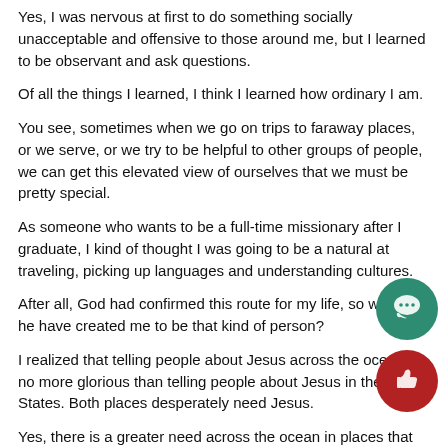Yes, I was nervous at first to do something socially unacceptable and offensive to those around me, but I learned to be observant and ask questions.
Of all the things I learned, I think I learned how ordinary I am.
You see, sometimes when we go on trips to faraway places, or we serve, or we try to be helpful to other groups of people, we can get this elevated view of ourselves that we must be pretty special.
As someone who wants to be a full-time missionary after I graduate, I kind of thought I was going to be a natural at traveling, picking up languages and understanding cultures.
After all, God had confirmed this route for my life, so wouldn't he have created me to be that kind of person?
I realized that telling people about Jesus across the ocean is no more glorious than telling people about Jesus in the United States. Both places desperately need Jesus.
Yes, there is a greater need across the ocean in places that have